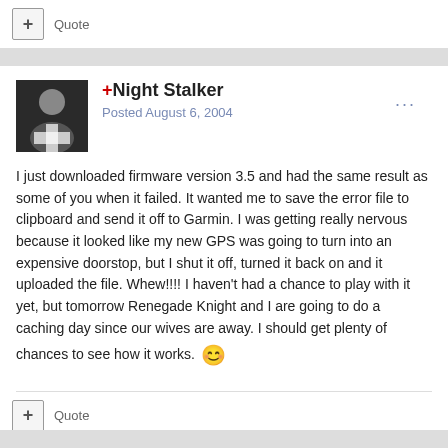Quote
+Night Stalker
Posted August 6, 2004
I just downloaded firmware version 3.5 and had the same result as some of you when it failed. It wanted me to save the error file to clipboard and send it off to Garmin. I was getting really nervous because it looked like my new GPS was going to turn into an expensive doorstop, but I shut it off, turned it back on and it uploaded the file. Whew!!!! I haven't had a chance to play with it yet, but tomorrow Renegade Knight and I are going to do a caching day since our wives are away. I should get plenty of chances to see how it works.
Quote